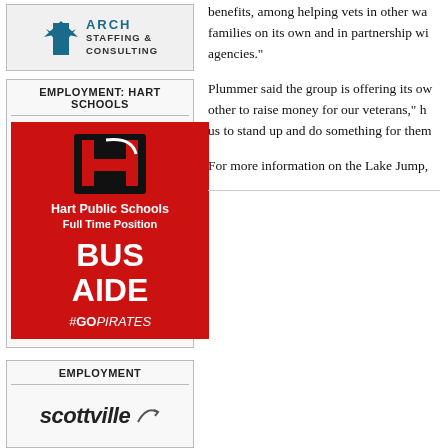[Figure (logo): ARCH Staffing & Consulting logo with bird/arrow icon]
EMPLOYMENT: HART SCHOOLS
[Figure (illustration): Hart Public Schools Full Time Position BUS AIDE #GOPIRATES advertisement on red background with H logo]
EMPLOYMENT
[Figure (logo): Scottville logo - partial view]
benefits, among helping vets in other ways, families on its own and in partnership with agencies."
Plummer said the group is offering its own other to raise money for our veterans," he us to stand up and do something for them.
For more information on the Lake Jump,